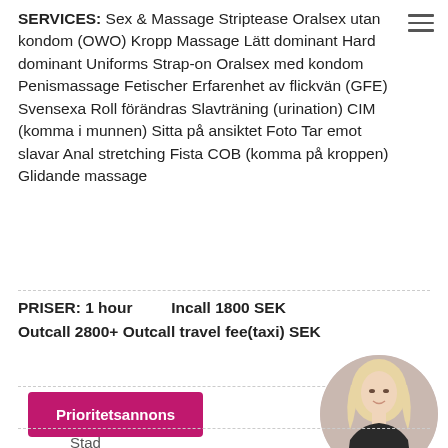SERVICES: Sex & Massage Striptease Oralsex utan kondom (OWO) Kropp Massage Lätt dominant Hard dominant Uniforms Strap-on Oralsex med kondom Penismassage Fetischer Erfarenhet av flickvän (GFE) Svensexa Roll förändras Slavträning (urination) CIM (komma i munnen) Sitta på ansiktet Foto Tar emot slavar Anal stretching Fista COB (komma på kroppen) Glidande massage
PRISER: 1 hour    Incall 1800 SEK
Outcall 2800+ Outcall travel fee(taxi) SEK
Prioritetsannons
[Figure (photo): Circular cropped photo of a blonde woman in a black outfit]
Stad